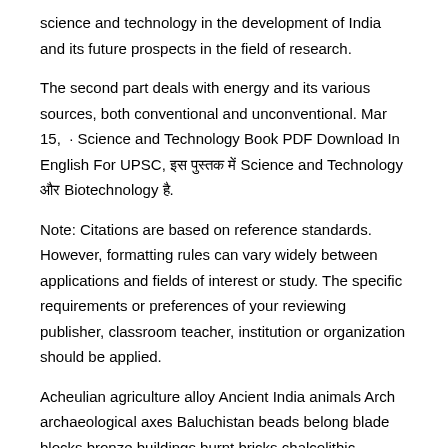science and technology in the development of India and its future prospects in the field of research.
The second part deals with energy and its various sources, both conventional and unconventional. Mar 15,  · Science and Technology Book PDF Download In English For UPSC, इस पुस्तक में Science and Technology और Biotechnology है.
Note: Citations are based on reference standards. However, formatting rules can vary widely between applications and fields of interest or study. The specific requirements or preferences of your reviewing publisher, classroom teacher, institution or organization should be applied.
Acheulian agriculture alloy Ancient India animals Arch archaeological axes Baluchistan beads belong blade blocks bronze buildings burnt bricks chalcolithic Chauno-daro chert chisels citadel cities of Mohenjo-daro Clactonian clay colour copper corbelled arch core cutting edge daro discovered drainage drains drills earlier faience feet fire flake.
Science and technology in India. New Delhi: National Institute of